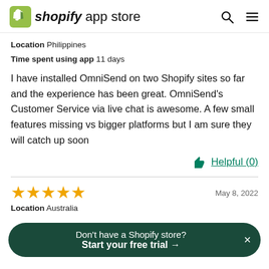shopify app store
Location  Philippines
Time spent using app  11 days
I have installed OmniSend on two Shopify sites so far and the experience has been great. OmniSend's Customer Service via live chat is awesome. A few small features missing vs bigger platforms but I am sure they will catch up soon
Helpful (0)
★★★★★
May 8, 2022
Location  Australia
Don't have a Shopify store? Start your free trial →